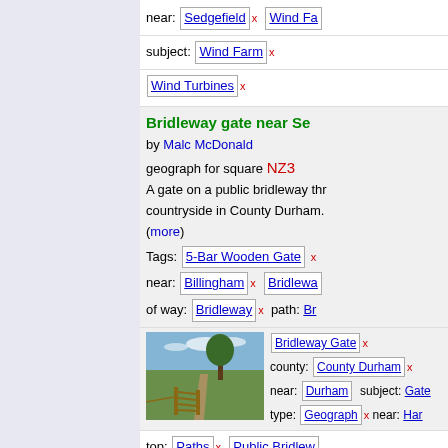near: Sedgefield x  Wind Fa...
subject: Wind Farm x
Wind Turbines x
Bridleway gate near Se...
by Malc McDonald
geograph for square NZ3...
A gate on a public bridleway thr... countryside in County Durham. (more)
Tags: 5-Bar Wooden Gate x
near: Billingham x  Bridlewa...
of way: Bridleway x  path: Br...
[Figure (photo): A wooden gate on a public bridleway with a tree in a green field, County Durham countryside]
Bridleway Gate x
county: County Durham x
near: Durham  subject: Gate...
type: Geograph x  near: Har...
top: Paths x  Public Bridlew...
Public Right of Way x
near: Sedgefield x  field